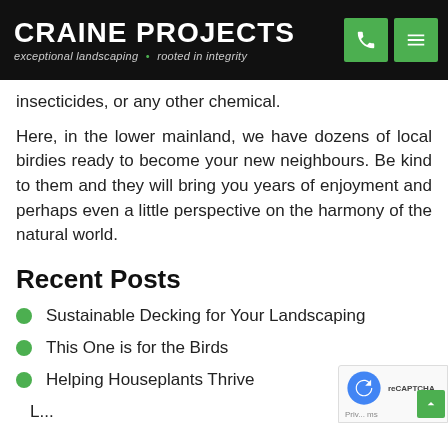CRAINE PROJECTS — exceptional landscaping • rooted in integrity
insecticides, or any other chemical.
Here, in the lower mainland, we have dozens of local birdies ready to become your new neighbours. Be kind to them and they will bring you years of enjoyment and perhaps even a little perspective on the harmony of the natural world.
Recent Posts
Sustainable Decking for Your Landscaping
This One is for the Birds
Helping Houseplants Thrive
L...